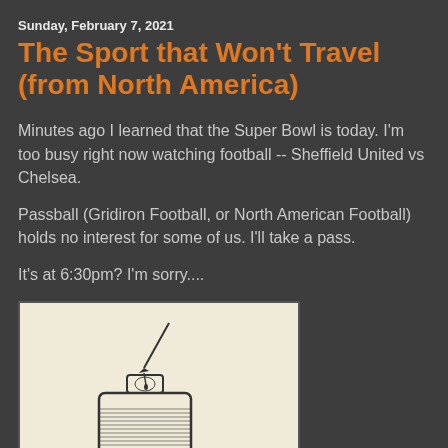Sunday, February 7, 2021
The Sport that Won't Travel (from North America)
Minutes ago I learned that the Super Bowl is today. I'm too busy right now watching football -- Sheffield United vs Chelsea.
Passball (Gridiron Football, or North American Football) holds no interest for some of us. I'll take a pass.
It's at 6:30pm? I'm sorry....
[Figure (illustration): A black and white line drawing of an ink bottle with a pen nib resting in it, on a light cream/beige background.]